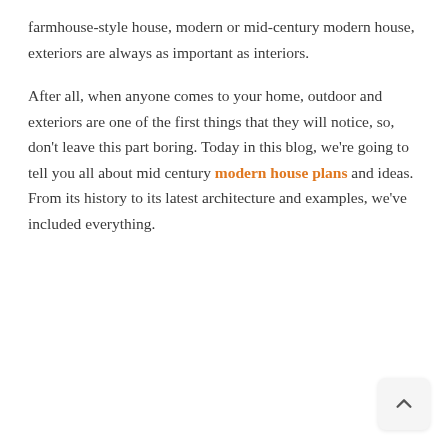farmhouse-style house, modern or mid-century modern house, exteriors are always as important as interiors.
After all, when anyone comes to your home, outdoor and exteriors are one of the first things that they will notice, so, don't leave this part boring. Today in this blog, we're going to tell you all about mid century modern house plans and ideas. From its history to its latest architecture and examples, we've included everything.